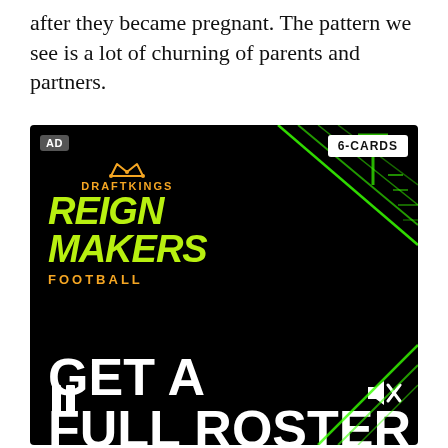after they became pregnant. The pattern we see is a lot of churning of parents and partners.
[Figure (screenshot): DraftKings Reign Makers Football advertisement video player. Dark/black background with green diagonal lines top right. AD badge top left, 6-CARDS badge top right. DraftKings Reign Makers Football logo in green and orange top left. Pause button and mute button visible. 'GET A FULL ROSTER' text appearing at bottom.]